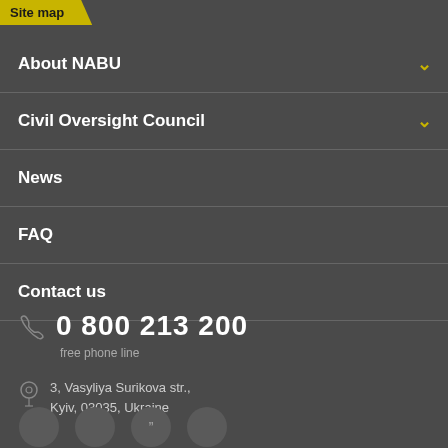Site map
About NABU
Civil Oversight Council
News
FAQ
Contact us
0 800 213 200
free phone line
3, Vasyliya Surikova str.,
Kyiv, 03035, Ukraine